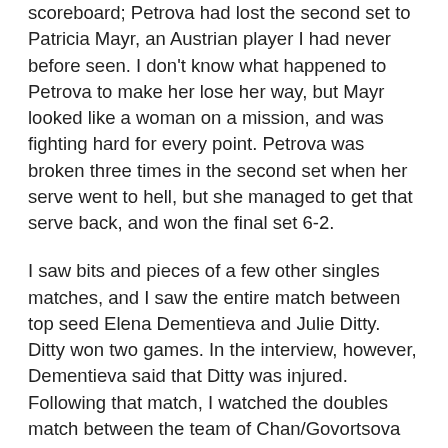scoreboard; Petrova had lost the second set to Patricia Mayr, an Austrian player I had never before seen. I don't know what happened to Petrova to make her lose her way, but Mayr looked like a woman on a mission, and was fighting hard for every point. Petrova was broken three times in the second set when her serve went to hell, but she managed to get that serve back, and won the final set 6-2.
I saw bits and pieces of a few other singles matches, and I saw the entire match between top seed Elena Dementieva and Julie Ditty. Ditty won two games. In the interview, however, Dementieva said that Ditty was injured. Following that match, I watched the doubles match between the team of Chan/Govortsova and Haynes/Osterloh. I wish that Olga Govortsova (who is looking quite fit and trim this year) had been able to play doubles with Edina Gallovits, but Gallovits is injured. However, she did well enough playing with Chan Chin-Wei. They defeated Angela Haynes and Lilia Osterloh in straight sets.
The most entertaining match I saw today was a doubles match between the teams of Dekmeijere/Schnyder and